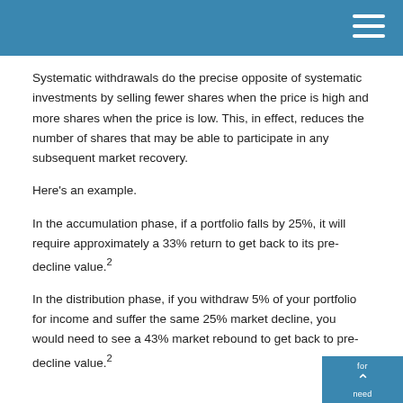Systematic withdrawals do the precise opposite of systematic investments by selling fewer shares when the price is high and more shares when the price is low. This, in effect, reduces the number of shares that may be able to participate in any subsequent market recovery.
Here’s an example.
In the accumulation phase, if a portfolio falls by 25%, it will require approximately a 33% return to get back to its pre-decline value.²
In the distribution phase, if you withdraw 5% of your portfolio for income and suffer the same 25% market decline, you would need to see a 43% market rebound to get back to pre-decline value.²